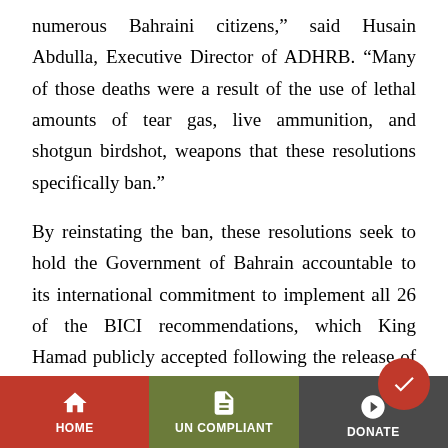numerous Bahraini citizens,” said Husain Abdulla, Executive Director of ADHRB. “Many of those deaths were a result of the use of lethal amounts of tear gas, live ammunition, and shotgun birdshot, weapons that these resolutions specifically ban.”
By reinstating the ban, these resolutions seek to hold the Government of Bahrain accountable to its international commitment to implement all 26 of the BICI recommendations, which King Hamad publicly accepted following the release of the Commission’s report. According to the State Department, his govern...
HOME | UN COMPLIANT | DONATE